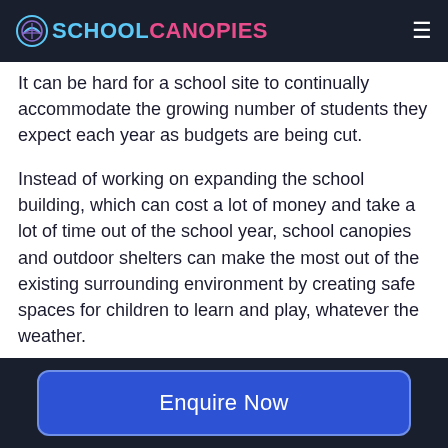SCHOOL CANOPIES
It can be hard for a school site to continually accommodate the growing number of students they expect each year as budgets are being cut.
Instead of working on expanding the school building, which can cost a lot of money and take a lot of time out of the school year, school canopies and outdoor shelters can make the most out of the existing surrounding environment by creating safe spaces for children to learn and play, whatever the weather.
Enquire Now